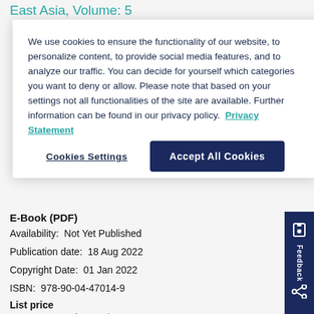East Asia, Volume: 5
We use cookies to ensure the functionality of our website, to personalize content, to provide social media features, and to analyze our traffic. You can decide for yourself which categories you want to deny or allow. Please note that based on your settings not all functionalities of the site are available. Further information can be found in our privacy policy.  Privacy Statement
Cookies Settings
Accept All Cookies
E-Book (PDF)
Availability:  Not Yet Published
Publication date:  18 Aug 2022
Copyright Date:  01 Jan 2022
ISBN:  978-90-04-47014-9
List price
EUR  €115.00 / USD  $138.00